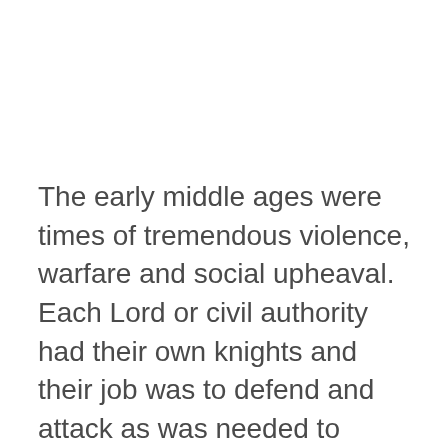The early middle ages were times of tremendous violence, warfare and social upheaval.  Each Lord or civil authority had their own knights and their job was to defend and attack as was needed to sustain what order could be had.  The “code of the knights” during the dark ages of medieval history was by nature violent